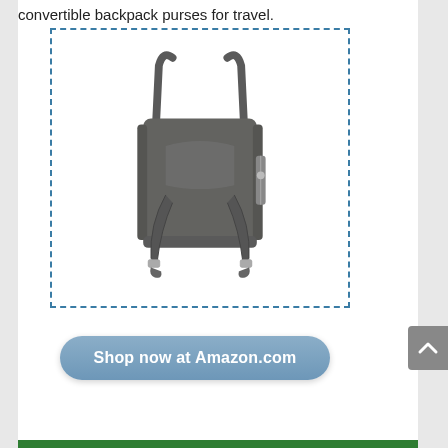convertible backpack purses for travel.
[Figure (photo): Dark gray convertible backpack/tote bag shown from the back, with dual tote handles and backpack straps, displayed inside a dashed blue border rectangle.]
Shop now at Amazon.com